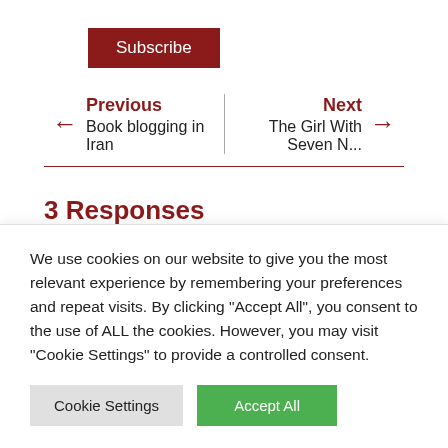Subscribe
← Previous
Book blogging in Iran | Next →
The Girl With Seven N...
3 Responses
We use cookies on our website to give you the most relevant experience by remembering your preferences and repeat visits. By clicking "Accept All", you consent to the use of ALL the cookies. However, you may visit "Cookie Settings" to provide a controlled consent.
Cookie Settings   Accept All